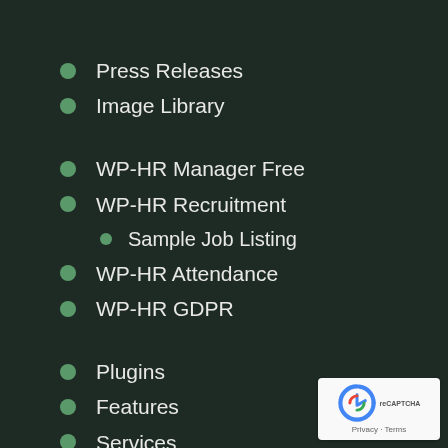Press Releases
Image Library
WP-HR Manager Free
WP-HR Recruitment
Sample Job Listing
WP-HR Attendance
WP-HR GDPR
Plugins
Features
Services
Hosting
[Figure (logo): reCAPTCHA badge with Privacy and Terms links]